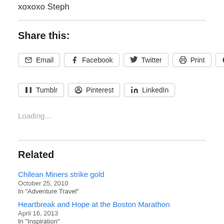xoxoxo Steph
Share this:
Email  Facebook  Twitter  Print  Reddit  Tumblr  Pinterest  LinkedIn
Loading...
Related
Chilean Miners strike gold
October 25, 2010
In "Adventure Travel"
Heartbreak and Hope at the Boston Marathon
April 16, 2013
In "Inspiration"